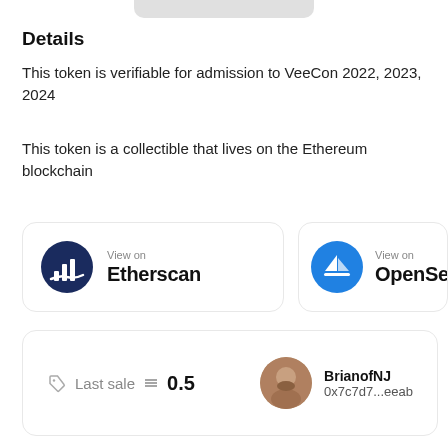Details
This token is verifiable for admission to VeeCon 2022, 2023, 2024
This token is a collectible that lives on the Ethereum blockchain
[Figure (logo): Etherscan logo button: dark blue circular icon with bar chart symbol, 'View on' label above 'Etherscan' in bold]
[Figure (logo): OpenSea logo button: blue circle with sailboat icon, 'View on' label above 'OpenSe...' (partially clipped)]
Last sale ≡ 0.5   BrianofNJ  0x7c7d7...eeab